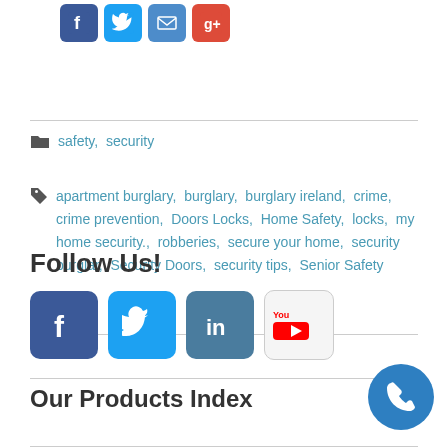[Figure (other): Social share icons (Facebook, Twitter, Email, Google+) at top of page]
safety, security
apartment burglary, burglary, burglary ireland, crime, crime prevention, Doors Locks, Home Safety, locks, my home security., robberies, secure your home, security burglar, Security Doors, security tips, Senior Safety
Follow Us!
[Figure (other): Social media icons: Facebook, Twitter, LinkedIn, YouTube]
Our Products Index